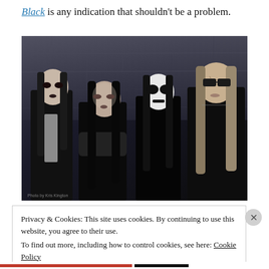Black is any indication that shouldn't be a problem.
[Figure (photo): Black and white photo of four people with long dark hair and gothic/black metal appearance, wearing black clothing, posed in front of a stone wall background.]
Privacy & Cookies: This site uses cookies. By continuing to use this website, you agree to their use.
To find out more, including how to control cookies, see here: Cookie Policy
Close and accept